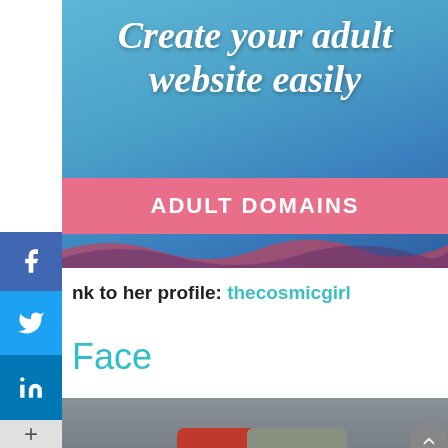[Figure (illustration): Advertising banner for adult website domain creation service. Blue gradient background with silhouette figures. White italic bold text reading 'Create your adult website easily'. Pink/salmon bar below with white bold text 'ADULT DOMAINS'. Decorative wave pattern at bottom.]
nk to her profile: thecosmicgirl
Face
[Figure (photo): Photo showing person's bare feet on a bed/couch. Red pillow visible, gray tufted cushion, dark TV or screen on right side, purple ambient light glow on left side.]